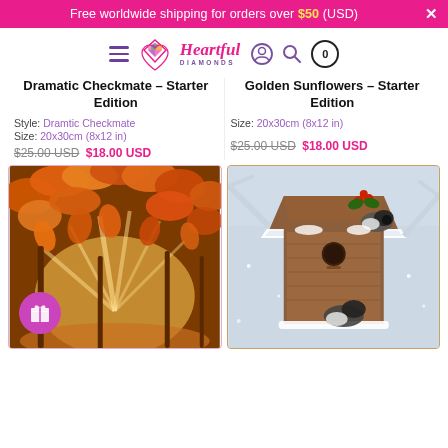Free worldwide shipping for orders over $50 (USD)
[Figure (logo): Heartful Diamonds logo with heart diamond icon and navigation icons (hamburger, user, search, cart)]
Dramatic Checkmate - Starter Edition
Style: Dramtic Checkmate
Size: 20x30cm (8x12 in)
$25.00 USD $18.00 USD
Golden Sunflowers - Starter Edition
Size: 20x30cm (8x12 in)
$25.00 USD $18.00 USD
[Figure (photo): Autumn forest scene with bright orange and yellow leaves, sunbeams breaking through trees, warm golden light on forest floor. Purple gift badge icon in lower left corner.]
[Figure (photo): Chickadee birds perched on a snow-covered wooden birdhouse with red berries and holly, winter scene with snowy branches in background.]